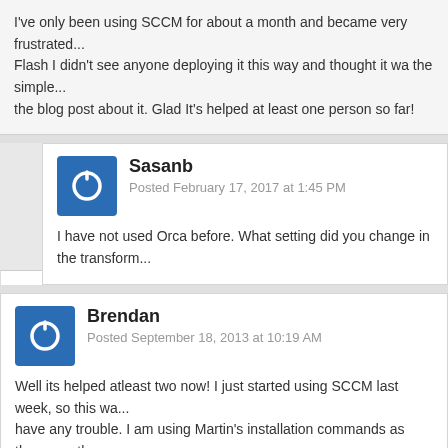I've only been using SCCM for about a month and became very frustrated... Flash I didn't see anyone deploying it this way and thought it wa the simple... the blog post about it. Glad It's helped at least one person so far!
Sasanb
Posted February 17, 2017 at 1:45 PM
I have not used Orca before. What setting did you change in the transform...
Brendan
Posted September 18, 2013 at 10:19 AM
Well its helped atleast two now! I just started using SCCM last week, so this wa... have any trouble. I am using Martin's installation commands as those are the s... recommends for Adobe Reader transform files.

Brendan
Robert
Posted April 29, 2014 at 1:56 PM